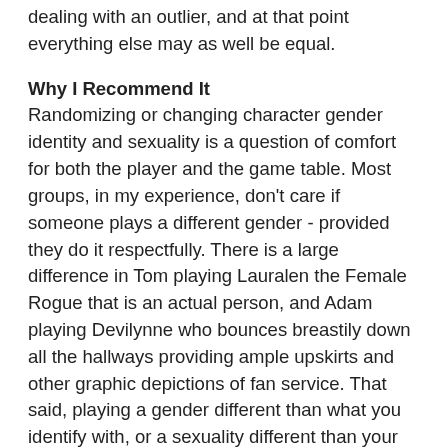dealing with an outlier, and at that point everything else may as well be equal.
Why I Recommend It
Randomizing or changing character gender identity and sexuality is a question of comfort for both the player and the game table. Most groups, in my experience, don't care if someone plays a different gender - provided they do it respectfully. There is a large difference in Tom playing Lauralen the Female Rogue that is an actual person, and Adam playing Devilynne who bounces breastily down all the hallways providing ample upskirts and other graphic depictions of fan service. That said, playing a gender different than what you identify with, or a sexuality different than your own, can be great for both character range purposes in future games - or if you ever GM - and eye opening in how it can give a different view of the world.
The second part there may not happen for everyone, but I consider Gender and Sexuality to be part of the foundations of a person. They feed so much into how we view the world by impacting what social obligations may be on us, and what